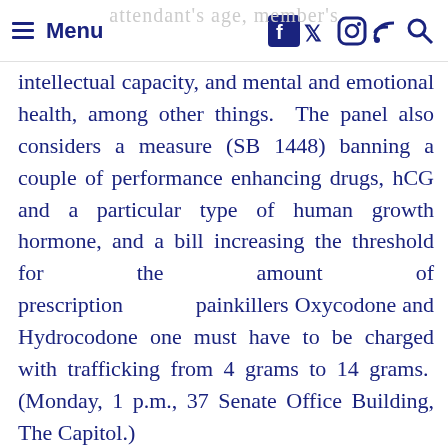Menu [social icons: Facebook, Twitter, Instagram, RSS, Search]
intellectual capacity, and mental and emotional health, among other things. The panel also considers a measure (SB 1448) banning a couple of performance enhancing drugs, hCG and a particular type of human growth hormone, and a bill increasing the threshold for the amount of prescription painkillers Oxycodone and Hydrocodone one must have to be charged with trafficking from 4 grams to 14 grams. (Monday, 1 p.m., 37 Senate Office Building, The Capitol.)